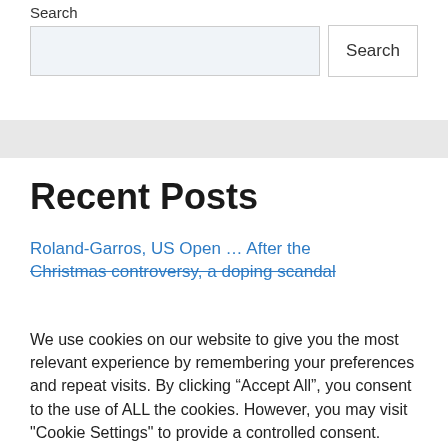Search
Search input and Search button
Recent Posts
Roland-Garros, US Open … After the Christmas controversy, a doping scandal
We use cookies on our website to give you the most relevant experience by remembering your preferences and repeat visits. By clicking “Accept All”, you consent to the use of ALL the cookies. However, you may visit "Cookie Settings" to provide a controlled consent.